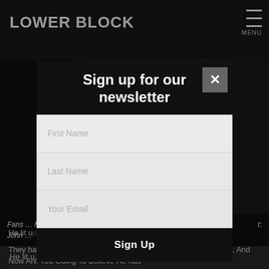LOWER BLOCK
[Figure (screenshot): Dark background image partially visible behind modal overlay]
Fans … Miche… broa… Liverp… t: John …
Sign up for our newsletter
First Name
Last Name
Your Email
Sign Up
He lit u… when Chelsea retrieved their first title in 26 years.
They had finally succeeded, and so has John Ingledew. His book, And Now Are You Going To Believe He has